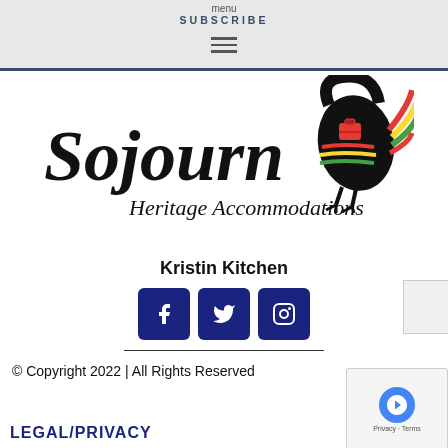menu
SUBSCRIBE
[Figure (logo): Sojourn Heritage Accommodations logo with stylized script text and a decorative bird illustration holding a red suitcase]
Kristin Kitchen
[Figure (infographic): Social media icons: Facebook, Twitter, Instagram - dark blue rounded square buttons]
© Copyright 2022 | All Rights Reserved
LEGAL/PRIVACY